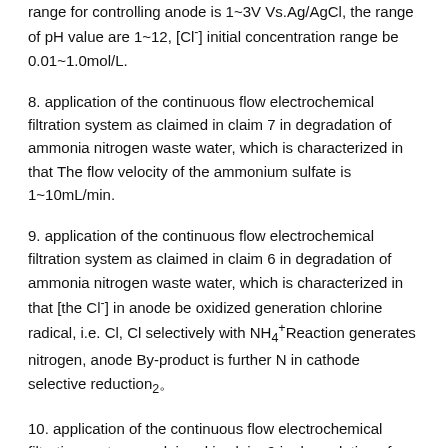range for controlling anode is 1~3V Vs.Ag/AgCl, the range of pH value are 1~12, [Cl⁻] initial concentration range be 0.01~1.0mol/L.
8. application of the continuous flow electrochemical filtration system as claimed in claim 7 in degradation of ammonia nitrogen waste water, which is characterized in that The flow velocity of the ammonium sulfate is 1~10mL/min.
9. application of the continuous flow electrochemical filtration system as claimed in claim 6 in degradation of ammonia nitrogen waste water, which is characterized in that [the Cl⁻] in anode be oxidized generation chlorine radical, i.e. Cl, Cl selectively with NH₄⁺Reaction generates nitrogen, anode By-product is further N in cathode selective reduction₂。
10. application of the continuous flow electrochemical filtration system as claimed in claim 9 in degradation of ammonia nitrogen waste water, feature exist In the by-product of the anode is NO₃⁻And NO₂⁻At least one of.